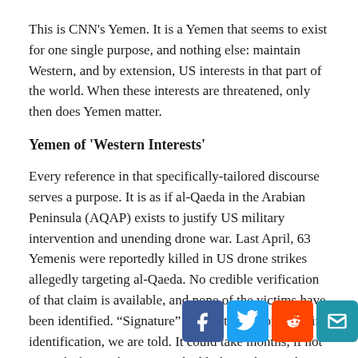This is CNN's Yemen. It is a Yemen that seems to exist for one single purpose, and nothing else: maintain Western, and by extension, US interests in that part of the world. When these interests are threatened, only then does Yemen matter.
Yemen of 'Western Interests'
Every reference in that specifically-tailored discourse serves a purpose. It is as if al-Qaeda in the Arabian Peninsula (AQAP) exists to justify US military intervention and unending drone war. Last April, 63 Yemenis were reportedly killed in US drone strikes allegedly targeting al-Qaeda. No credible verification of that claim is available, and none of the victims have been identified. “Signature” drone strikes don't require identification, we are told. It could take months, if not years, before rights groups shed light on the April killings, which are a continuation of [social icons] drone war.